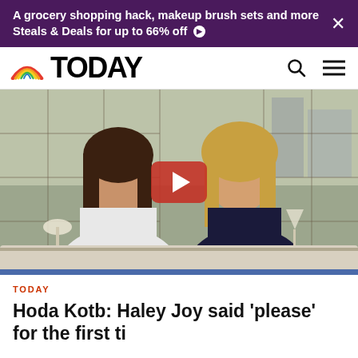A grocery shopping hack, makeup brush sets and more Steals & Deals for up to 66% off
[Figure (logo): TODAY show logo with rainbow sunrise icon and bold TODAY wordmark, plus search and menu icons]
[Figure (photo): Two women (Hoda Kotb on the left in white dress holding white wine, and Kathie Lee Gifford on the right in dark floral dress holding a martini glass) smiling at a studio desk on the TODAY show set, with a display wall behind them. A red video play button overlay is centered on the image.]
TODAY
Hoda Kotb: Haley Joy said 'please' for the first ti